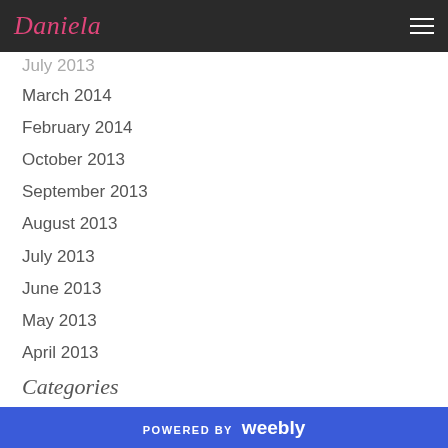Daniela
July 2013 (partial)
March 2014
February 2014
October 2013
September 2013
August 2013
July 2013
June 2013
May 2013
April 2013
Categories
All
Abraham Hicks
Abundance
Add
POWERED BY weebly